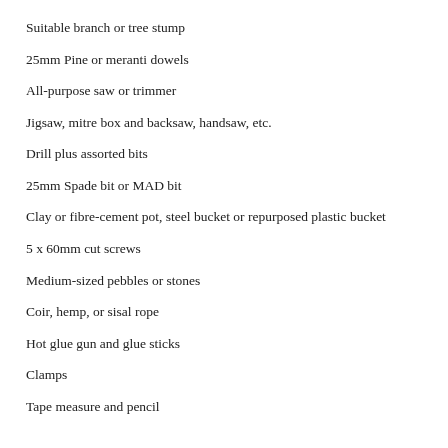Suitable branch or tree stump
25mm Pine or meranti dowels
All-purpose saw or trimmer
Jigsaw, mitre box and backsaw, handsaw, etc.
Drill plus assorted bits
25mm Spade bit or MAD bit
Clay or fibre-cement pot, steel bucket or repurposed plastic bucket
5 x 60mm cut screws
Medium-sized pebbles or stones
Coir, hemp, or sisal rope
Hot glue gun and glue sticks
Clamps
Tape measure and pencil